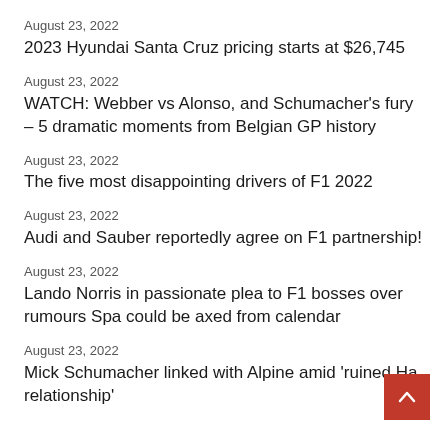August 23, 2022
2023 Hyundai Santa Cruz pricing starts at $26,745
August 23, 2022
WATCH: Webber vs Alonso, and Schumacher’s fury – 5 dramatic moments from Belgian GP history
August 23, 2022
The five most disappointing drivers of F1 2022
August 23, 2022
Audi and Sauber reportedly agree on F1 partnership!
August 23, 2022
Lando Norris in passionate plea to F1 bosses over rumours Spa could be axed from calendar
August 23, 2022
Mick Schumacher linked with Alpine amid ‘ruined Ha relationship’